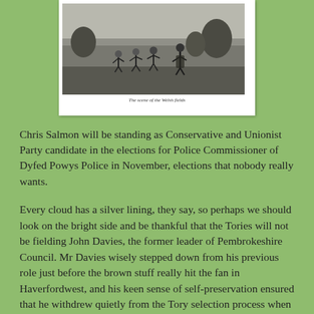[Figure (photo): Black and white historical photograph showing several people, possibly children, outdoors on grass. A small caption appears below the image.]
Chris Salmon will be standing as Conservative and Unionist Party candidate in the elections for Police Commissioner of Dyfed Powys Police in November, elections that nobody really wants.
Every cloud has a silver lining, they say, so perhaps we should look on the bright side and be thankful that the Tories will not be fielding John Davies, the former leader of Pembrokeshire Council. Mr Davies wisely stepped down from his previous role just before the brown stuff really hit the fan in Haverfordwest, and his keen sense of self-preservation ensured that he withdrew quietly from the Tory selection process when it became clear that he was on to a loser.
So who is Chris Salmon, I hear you ask.
He tells us that he grew up in a farming family in the old county of